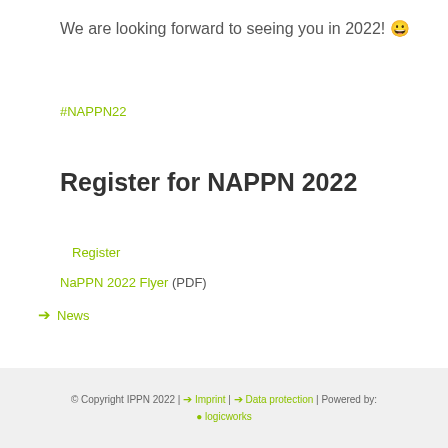We are looking forward to seeing you in 2022! 😀
#NAPPN22
Register for NAPPN 2022
Register
NaPPN 2022 Flyer (PDF)
→ News
© Copyright IPPN 2022 | → Imprint | → Data protection | Powered by: ⊙ logicworks